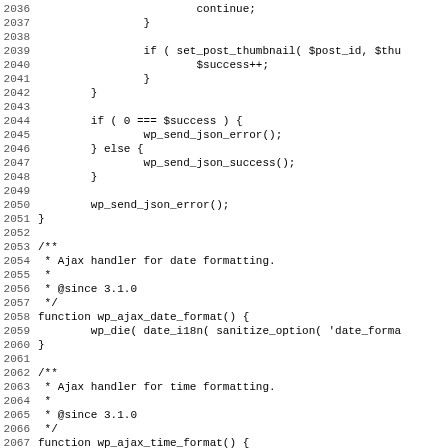Code listing lines 2036-2067, PHP source code for WordPress AJAX handlers